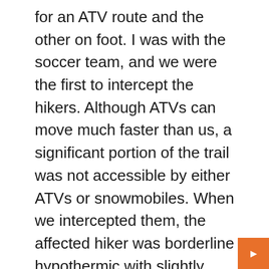for an ATV route and the other on foot. I was with the soccer team, and we were the first to intercept the hikers. Although ATVs can move much faster than us, a significant portion of the trail was not accessible by either ATVs or snowmobiles. When we intercepted them, the affected hiker was borderline hypothermic with slightly blue lips. We recognized the symptoms and we knew it was bad. We gave him dry clothes, but we knew we had to get him out as soon as possible. I asked the EMT of our research team to continually assess and reassess his status upon our release.
For many reasons, people are recreating farther into the backcountry. We also need to have the